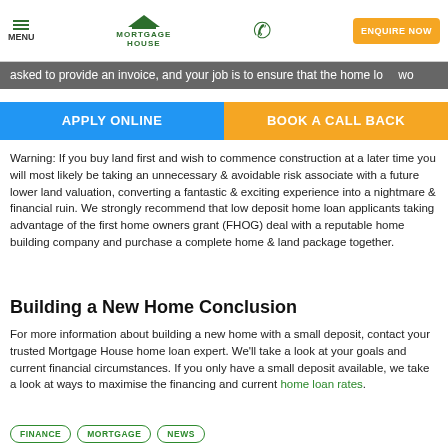MENU | MORTGAGE HOUSE | (phone) | ENQUIRE NOW
asked to provide an invoice, and your job is to ensure that the home lo… wo…
APPLY ONLINE | BOOK A CALL BACK
Warning: If you buy land first and wish to commence construction at a later time you will most likely be taking an unnecessary & avoidable risk associate with a future lower land valuation, converting a fantastic & exciting experience into a nightmare & financial ruin. We strongly recommend that low deposit home loan applicants taking advantage of the first home owners grant (FHOG) deal with a reputable home building company and purchase a complete home & land package together.
Building a New Home Conclusion
For more information about building a new home with a small deposit, contact your trusted Mortgage House home loan expert. We'll take a look at your goals and current financial circumstances. If you only have a small deposit available, we take a look at ways to maximise the financing and current home loan rates.
FINANCE   MORTGAGE   NEWS